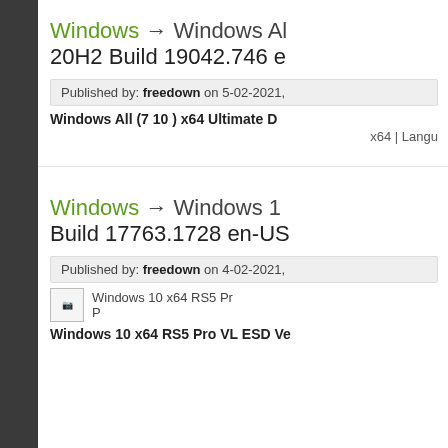Windows → Windows All 20H2 Build 19042.746 e...
Published by: freedown on 5-02-2021,
Windows All (7 10 ) x64 Ultimate D...
x64 | Langu...
Windows → Windows 10 Build 17763.1728 en-US...
Published by: freedown on 4-02-2021,
[Figure (screenshot): Small broken image icon for Windows 10 x64 RS5 Pro thumbnail]
Windows 10 x64 RS5 Pro VL ESD Ve...
Windows 10 x64 RS5 Pro VL ESD Ve...